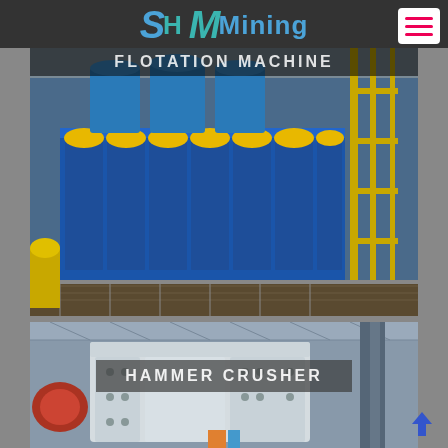[Figure (logo): SH MMining logo with stylized blue letters on dark header bar]
[Figure (photo): Flotation machine industrial photo showing rows of blue machines with yellow covers in a mining facility]
FLOTATION MACHINE
[Figure (photo): Hammer crusher industrial photo showing large white mechanical crusher equipment]
HAMMER CRUSHER